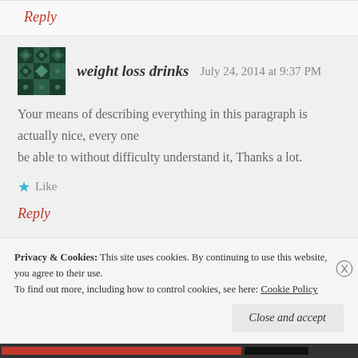Reply
weight loss drinks   July 24, 2014 at 9:37 PM
Your means of describing everything in this paragraph is actually nice, every one be able to without difficulty understand it, Thanks a lot.
Like
Reply
Privacy & Cookies:  This site uses cookies. By continuing to use this website, you agree to their use.
To find out more, including how to control cookies, see here: Cookie Policy
Close and accept